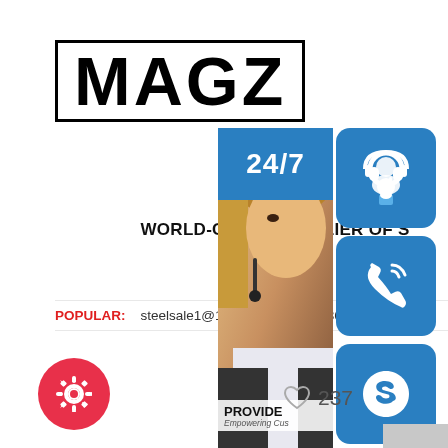[Figure (logo): MAGZ logo in bold black text inside a rectangular border box]
WORLD-CLASS SUPPLIER OF S[TEEL] MATERIAL
POPULAR:  steelsale1@163.com  86 371 861...
[Figure (infographic): Right side overlay with 24/7 badge, headset/phone/Skype icons, customer service person image, PROVIDE / Empowering Cus[tomers] text, online live button]
bs, DIN, GB, JIS, carbon steel, Q235B
[Figure (other): Red circular gear/settings button at bottom left]
237